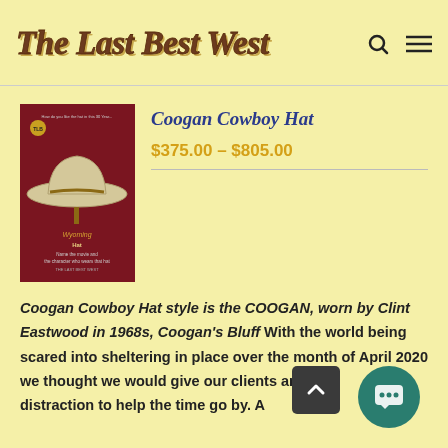The Last Best West
[Figure (illustration): Book cover or product image showing a white cowboy hat on a stand against a dark red background with text 'Wyoming Hat - Name the movie and the character who wears that hat - THE LAST BEST WEST']
Coogan Cowboy Hat
$375.00 – $805.00
Coogan Cowboy Hat style is the COOGAN, worn by Clint Eastwood in 1968s, Coogan's Bluff With the world being scared into sheltering in place over the month of April 2020 we thought we would give our clients and friends a distraction to help the time go by. A